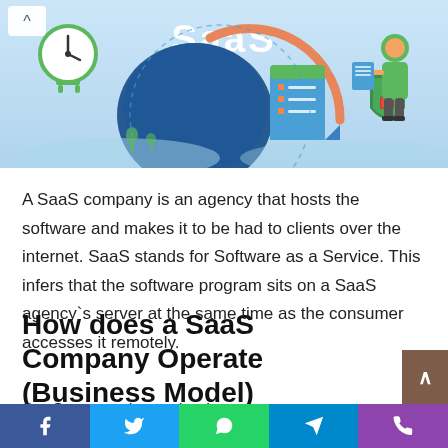[Figure (illustration): SaaS themed hero illustration with light blue background, showing a globe, clock, checklist, shield with padlock, and a person holding a document. 'SaaS' written in large white bold text at the top center.]
A SaaS company is an agency that hosts the software and makes it to be had to clients over the internet. SaaS stands for Software as a Service. This infers that the software program sits on a SaaS agency`s server at the same time as the consumer accesses it remotely.
How does a SaaS Company Operate (Business Model)
SaaS companies maintain servers, databases, and software...